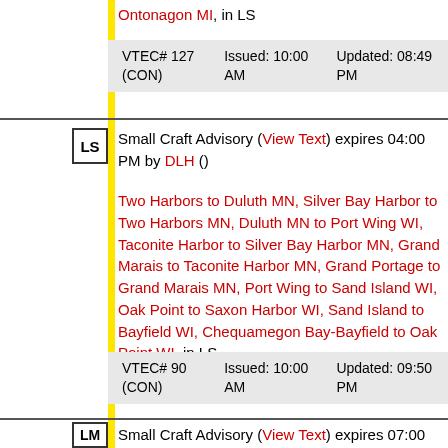Ontonagon MI, in LS
| VTEC# 127 (CON) | Issued: 10:00 AM | Updated: 08:49 PM |
Small Craft Advisory (View Text) expires 04:00 PM by DLH ()
Two Harbors to Duluth MN, Silver Bay Harbor to Two Harbors MN, Duluth MN to Port Wing WI, Taconite Harbor to Silver Bay Harbor MN, Grand Marais to Taconite Harbor MN, Grand Portage to Grand Marais MN, Port Wing to Sand Island WI, Oak Point to Saxon Harbor WI, Sand Island to Bayfield WI, Chequamegon Bay-Bayfield to Oak Point WI, in LS
| VTEC# 90 (CON) | Issued: 10:00 AM | Updated: 09:50 PM |
Small Craft Advisory (View Text) expires 07:00